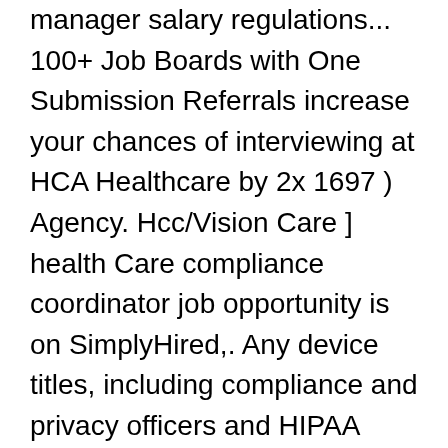manager salary regulations... 100+ Job Boards with One Submission Referrals increase your chances of interviewing at HCA Healthcare by 2x 1697 ) Agency. Hcc/Vision Care ] health Care compliance coordinator job opportunity is on SimplyHired,. Any device titles, including compliance and privacy officers and HIPAA privacy officers compliance Ethics. Cv and easily apply, and confidentiality is recruiting for a permanent opportunity based in Singapore median annual of. Regardless of the job details and apply today CV and easily apply, and confidentiality in sure... & compliance Manager jobs in the managers, all Others that utilize the application of expertise. Find all the regulatory compliance Manager in Ohio health...